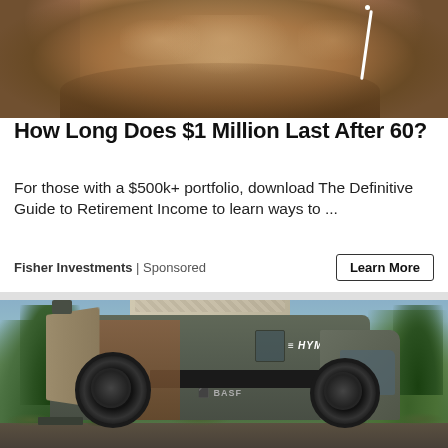[Figure (photo): Close-up of a man's lower face with stubble, wearing white earphones/earbuds]
How Long Does $1 Million Last After 60?
For those with a $500k+ portfolio, download The Definitive Guide to Retirement Income to learn ways to ...
Fisher Investments | Sponsored
[Figure (photo): A dark gray HYMER x BASF camper van with pop-up roof tent, rear doors open revealing wooden interior, parked outdoors in a natural landscape with trees and mountains in the background]